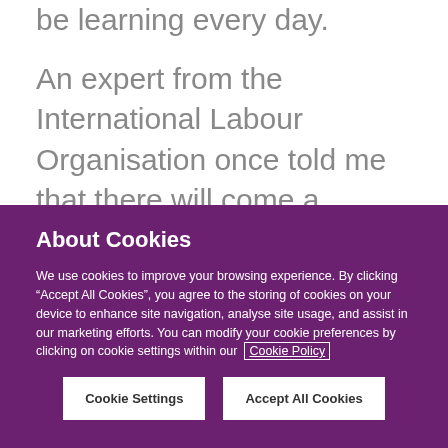be learning every day.
An expert from the International Labour Organisation once told me that there will come a moment in 10 years when the
About Cookies
We use cookies to improve your browsing experience. By clicking “Accept All Cookies”, you agree to the storing of cookies on your device to enhance site navigation, analyse site usage, and assist in our marketing efforts. You can modify your cookie preferences by clicking on cookie settings within our Cookie Policy
Cookie Settings
Accept All Cookies